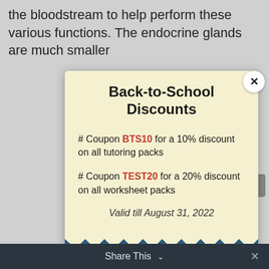the bloodstream to help perform these various functions. The endocrine glands are much smaller
Back-to-School Discounts
# Coupon BTS10 for a 10% discount on all tutoring packs
# Coupon TEST20 for a 20% discount on all worksheet packs
Valid till August 31, 2022
BUY NOW
Share This